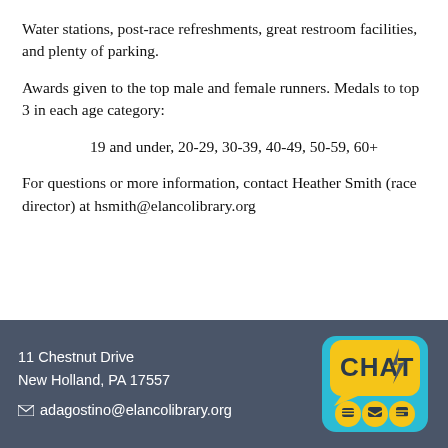Water stations, post-race refreshments, great restroom facilities, and plenty of parking.
Awards given to the top male and female runners. Medals to top 3 in each age category:
19 and under, 20-29, 30-39, 40-49, 50-59, 60+
For questions or more information, contact Heather Smith (race director) at hsmith@elancolibrary.org
11 Chestnut Drive
New Holland, PA 17557
adagostino@elancolibrary.org
[Figure (logo): CHAT logo — yellow speech bubble with 'CHAT' text and lightning bolt, with three circular icons below inside a teal rounded rectangle]